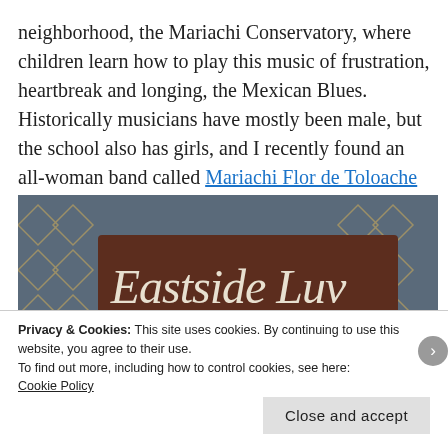neighborhood, the Mariachi Conservatory, where children learn how to play this music of frustration, heartbreak and longing, the Mexican Blues. Historically musicians have mostly been male, but the school also has girls, and I recently found an all-woman band called Mariachi Flor de Toloache on NPR.
[Figure (photo): A photograph of a sign reading 'Eastside Luv' in cursive script on a dark brown/mahogany rectangular sign, with a red underline beneath the text. The background shows decorative diamond patterns.]
Privacy & Cookies: This site uses cookies. By continuing to use this website, you agree to their use.
To find out more, including how to control cookies, see here:
Cookie Policy
Close and accept